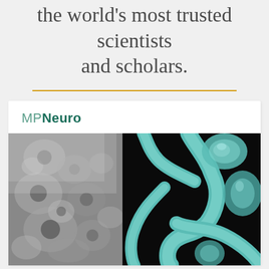the world's most trusted scientists and scholars.
MPNeuro
[Figure (photo): Neuroscience microscopy image showing split view: left side is black-and-white electron microscopy of cellular/tissue structures, right side is teal/cyan colored 3D rendering of dendritic spines or synaptic structures against a dark background.]